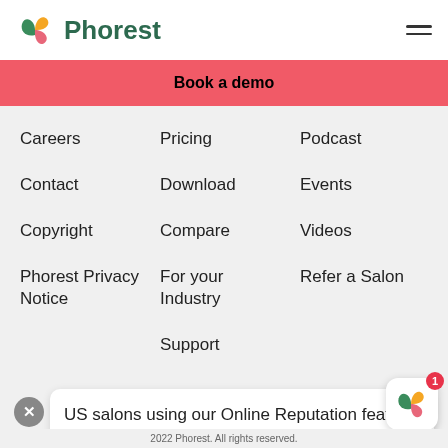[Figure (logo): Phorest logo with colorful leaf/petal icon and green Phorest wordmark, plus hamburger menu icon on right]
Book a demo
Careers
Pricing
Podcast
Contact
Download
Events
Copyright
Compare
Videos
Phorest Privacy Notice
For your Industry
Refer a Salon
Support
US salons using our Online Reputation feature have an average 95% 5-star ratings on Google! Want to...
2022 Phorest. All rights reserved.